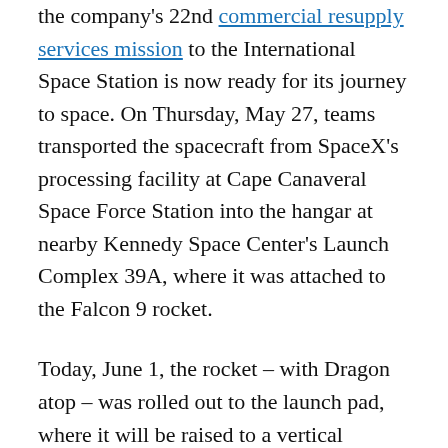the company's 22nd commercial resupply services mission to the International Space Station is now ready for its journey to space. On Thursday, May 27, teams transported the spacecraft from SpaceX's processing facility at Cape Canaveral Space Force Station into the hangar at nearby Kennedy Space Center's Launch Complex 39A, where it was attached to the Falcon 9 rocket.
Today, June 1, the rocket – with Dragon atop – was rolled out to the launch pad, where it will be raised to a vertical position in preparation for launch. Liftoff of the Falcon 9 is scheduled for 1:29 p.m. EDT on Thursday, June 3. Packed with supplies and payloads bound for the orbiting laboratory, Dragon will deliver critical